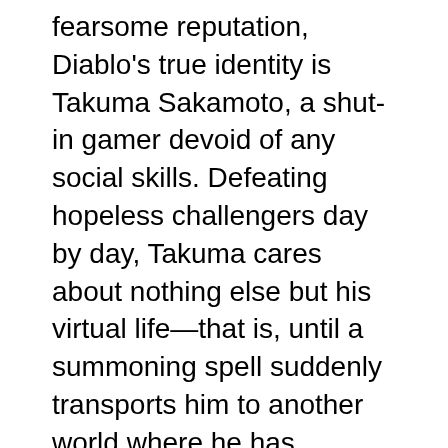fearsome reputation, Diablo's true identity is Takuma Sakamoto, a shut-in gamer devoid of any social skills. Defeating hopeless challengers day by day, Takuma cares about nothing else but his virtual life—that is, until a summoning spell suddenly transports him to another world where he has Diablo's appearance!In this new world resembling his favorite game, Takuma is greeted by the two girls who summoned him. They perform an Enslavement Ritual in an attempt to subjugate him, but the spell backfires and causes them to become his slaves instead. With the situation now becoming more awkward than ever, Takuma decides to accompany the girls in finding a way to unbind their contract while learning to adapt to his new existence as the menacing Demon King.